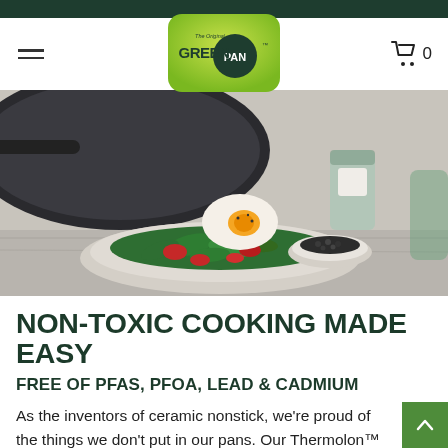[Figure (screenshot): GreenPan website header with dark green top bar, hamburger menu icon on left, GreenPan logo centered, and shopping cart with 0 on right]
[Figure (photo): Hero image showing a fried egg being slid from a dark nonstick pan onto a plate of salad with spinach and tomatoes, with a jar of peppercorns and a glass in the background]
NON-TOXIC COOKING MADE EASY
FREE OF PFAS, PFOA, LEAD & CADMIUM
As the inventors of ceramic nonstick, we're proud of the things we don't put in our pans. Our Thermolon™ coating won't release toxic fumes when overheated and create